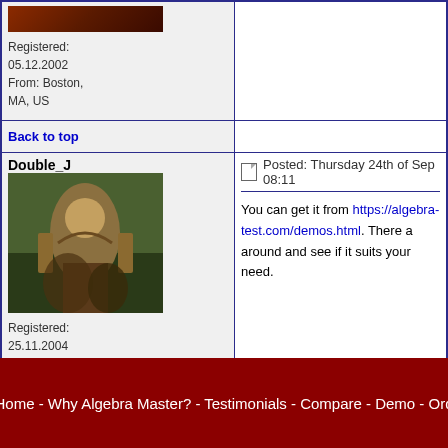| User | Post |
| --- | --- |
| Registered: 05.12.2002
From: Boston, MA, US |  |
| Back to top |  |
| Double_J
Registered: 25.11.2004
From: Netherlands | Posted: Thursday 24th of Sep 08:11
You can get it from https://algebra-test.com/demos.html. There a... around and see if it suits your need. |
| Back to top |  |
|  |  |
Home - Why Algebra Master? - Testimonials - Compare - Demo - Ord...